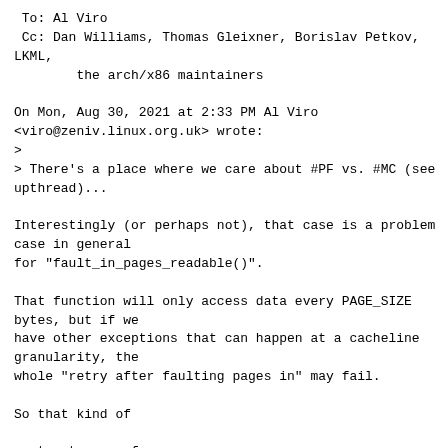To: Al Viro
 Cc: Dan Williams, Thomas Gleixner, Borislav Petkov, LKML,
        the arch/x86 maintainers

On Mon, Aug 30, 2021 at 2:33 PM Al Viro
<viro@zeniv.linux.org.uk> wrote:
>
> There's a place where we care about #PF vs. #MC (see upthread)...

Interestingly (or perhaps not), that case is a problem case in general
for "fault_in_pages_readable()".

That function will only access data every PAGE_SIZE bytes, but if we
have other exceptions that can happen at a cacheline granularity, the
whole "retry after faulting pages in" may fail.

So that kind of

 - try to copy from user space

 - if that fails, do fault_in_pages_readable() and retry

loop can loop forever.